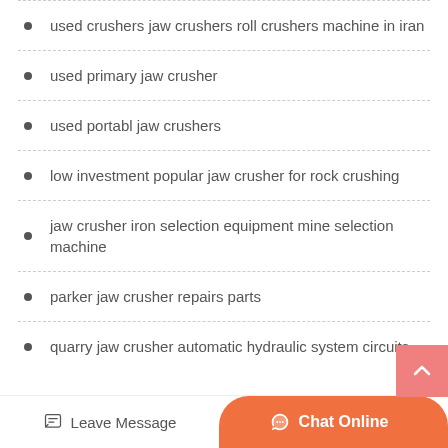used crushers jaw crushers roll crushers machine in iran
used primary jaw crusher
used portabl jaw crushers
low investment popular jaw crusher for rock crushing
jaw crusher iron selection equipment mine selection machine
parker jaw crusher repairs parts
quarry jaw crusher automatic hydraulic system circuits